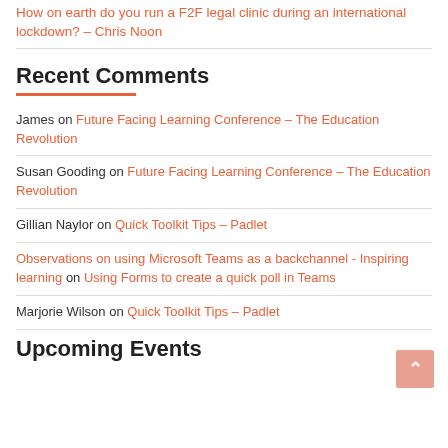How on earth do you run a F2F legal clinic during an international lockdown? – Chris Noon
Recent Comments
James on Future Facing Learning Conference – The Education Revolution
Susan Gooding on Future Facing Learning Conference – The Education Revolution
Gillian Naylor on Quick Toolkit Tips – Padlet
Observations on using Microsoft Teams as a backchannel - Inspiring learning on Using Forms to create a quick poll in Teams
Marjorie Wilson on Quick Toolkit Tips – Padlet
Upcoming Events